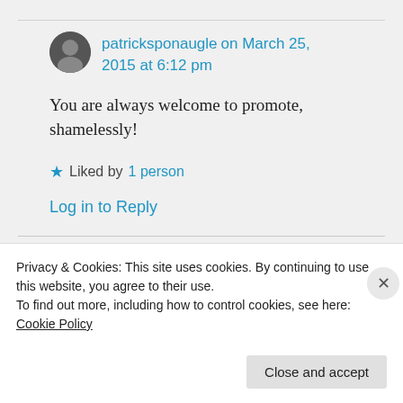patricksponaugle on March 25, 2015 at 6:12 pm
You are always welcome to promote, shamelessly!
Liked by 1 person
Log in to Reply
Privacy & Cookies: This site uses cookies. By continuing to use this website, you agree to their use. To find out more, including how to control cookies, see here: Cookie Policy
Close and accept